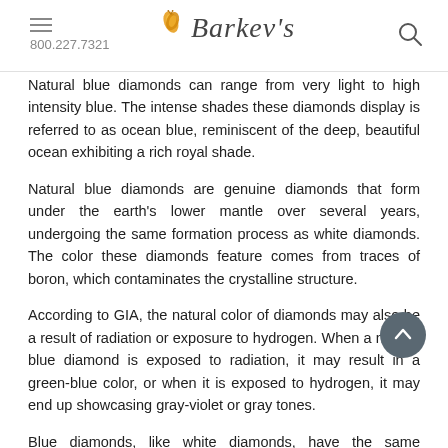800.227.7321 | Barkev's
Natural blue diamonds can range from very light to high intensity blue. The intense shades these diamonds display is referred to as ocean blue, reminiscent of the deep, beautiful ocean exhibiting a rich royal shade.
Natural blue diamonds are genuine diamonds that form under the earth's lower mantle over several years, undergoing the same formation process as white diamonds. The color these diamonds feature comes from traces of boron, which contaminates the crystalline structure.
According to GIA, the natural color of diamonds may also be a result of radiation or exposure to hydrogen. When a natural blue diamond is exposed to radiation, it may result in a green-blue color, or when it is exposed to hydrogen, it may end up showcasing gray-violet or gray tones.
Blue diamonds, like white diamonds, have the same tetrahedral cubic crystal structure, rate 10 on the Mohs hardness scale and are sourced from India, South Africa, Brazil and Indonesia.